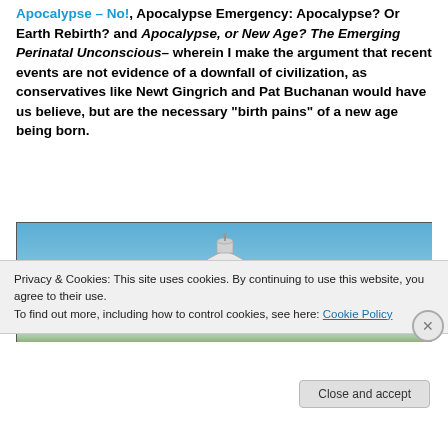Apocalypse – No!, Apocalypse Emergency: Apocalypse? Or Earth Rebirth? and Apocalypse, or New Age? The Emerging Perinatal Unconscious– wherein I make the argument that recent events are not evidence of a downfall of civilization, as conservatives like Newt Gingrich and Pat Buchanan would have us believe, but are the necessary “birth pains” of a new age being born.
[Figure (photo): Photograph of a building dome (capitol or similar) against a blue sky]
Privacy & Cookies: This site uses cookies. By continuing to use this website, you agree to their use.
To find out more, including how to control cookies, see here: Cookie Policy
Close and accept